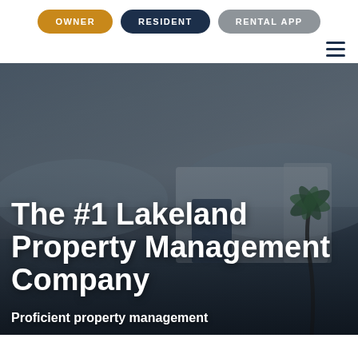OWNER | RESIDENT | RENTAL APP
[Figure (photo): Hero image of a modern residential home with palm trees and mountains in background, with dark gradient overlay. Navigation buttons (OWNER, RESIDENT, RENTAL APP) visible at top, hamburger menu icon at top right.]
The #1 Lakeland Property Management Company
Proficient property management